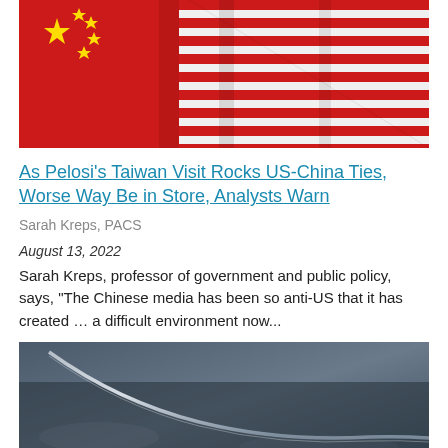[Figure (photo): Chinese and American flags side by side with red, gold stars and stripes visible]
As Pelosi's Taiwan Visit Rocks US-China Ties, Worse Way Be in Store, Analysts Warn
Sarah Kreps, PACS
August 13, 2022
Sarah Kreps, professor of government and public policy, says, "The Chinese media has been so anti-US that it has created … a difficult environment now...
[Figure (photo): Close-up of what appears to be a dark metallic surface or device, possibly a weapon or piece of technology]